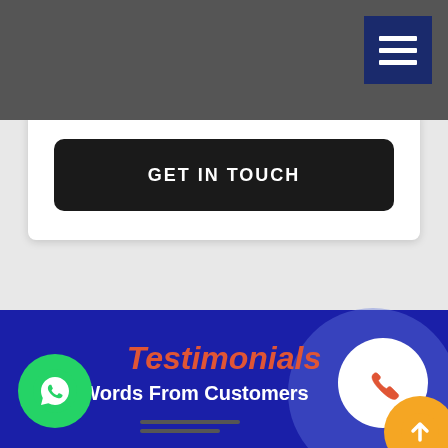[Figure (screenshot): Dark gray navigation bar at the top with a hamburger menu icon button (three white horizontal lines on dark blue background) in the top-right corner]
GET IN TOUCH
Testimonials
Words From Customers
[Figure (illustration): WhatsApp green circle icon on the left, phone/call red circle icon on the right with blue glow background circle, and an orange up-arrow circle button in the bottom-right corner]